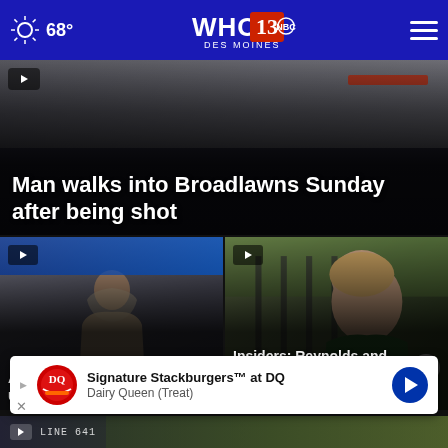68° WHO 13 DES MOINES NBC
[Figure (screenshot): Hero image: Man walks into Broadlawns Sunday after being shot - news story thumbnail with dark overlay]
Man walks into Broadlawns Sunday after being shot
[Figure (screenshot): Left video thumbnail: young man in hoodie, AR police suspended and under investigation]
AR police suspended and under inv...
[Figure (screenshot): Right video thumbnail: woman speaking outdoors, Insiders: Reynolds and Grassley criticize]
Insiders: Reynolds and Grassley criticize
[Figure (infographic): Dairy Queen advertisement banner: Signature Stackburgers at DQ, Dairy Queen (Treat)]
Signature Stackburgers™ at DQ Dairy Queen (Treat)
[Figure (screenshot): Bottom strip: additional video thumbnail with LINE 641 text visible]